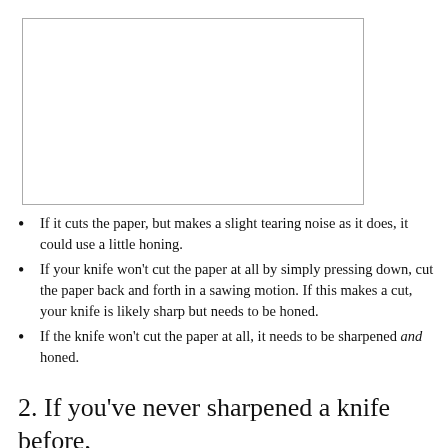[Figure (other): Blank white rectangle with gray border, likely placeholder for an image]
If it cuts the paper, but makes a slight tearing noise as it does, it could use a little honing.
If your knife won't cut the paper at all by simply pressing down, cut the paper back and forth in a sawing motion. If this makes a cut, your knife is likely sharp but needs to be honed.
If the knife won't cut the paper at all, it needs to be sharpened and honed.
2. If you've never sharpened a knife before,